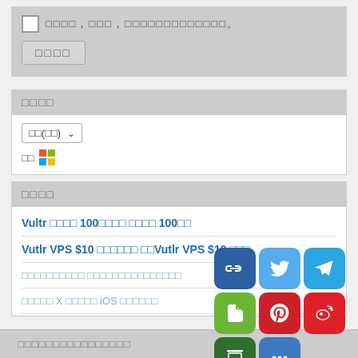[Figure (screenshot): Top form area with checkbox and submit button, showing placeholder text in Chinese/Japanese characters]
□□□□
[Figure (screenshot): Language selector dropdown showing □□(□□) with Windows logo OS row]
□□□□
Vultr □□□□ 100□□□□ □□□□ 100□□
Vutlr VPS $10 □□□□□□ □□Vutlr VPS $10 □□□
□□□□□□□□□□ □□□□□□□□□□□□□□□
□□□□□ X □□□□□ iOS □□□□□□
[Figure (screenshot): Social share buttons: link, twitter, telegram, evernote, pinterest, weibo, douban, more]
□□□□□□□□□□□□□□□□